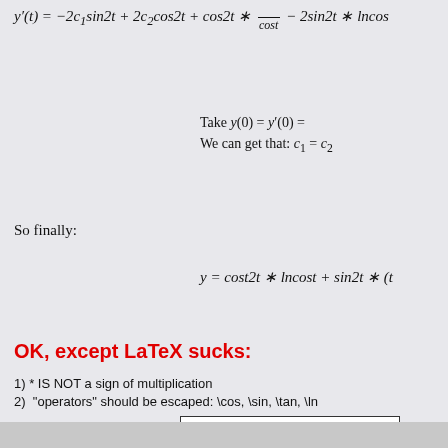Take y(0) = y'(0) = ... We can get that: c1 = c2 = ...
So finally:
OK, except LaTeX sucks:
1) * IS NOT a sign of multiplication
2)  "operators" should be escaped: \cos, \sin, \tan, \ln